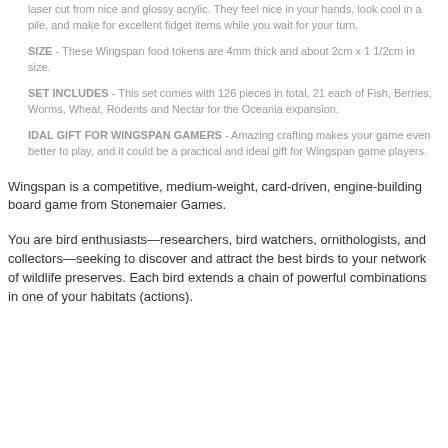laser cut from nice and glossy acrylic. They feel nice in your hands, look cool in a pile, and make for excellent fidget items while you wait for your turn.
SIZE - These Wingspan food tokens are 4mm thick and about 2cm x 1 1/2cm in size.
SET INCLUDES - This set comes with 126 pieces in total, 21 each of Fish, Berries, Worms, Wheat, Rodents and Nectar for the Oceania expansion.
IDAL GIFT FOR WINGSPAN GAMERS - Amazing crafting makes your game even better to play, and it could be a practical and ideal gift for Wingspan game players.
Wingspan is a competitive, medium-weight, card-driven, engine-building board game from Stonemaier Games.
You are bird enthusiasts—researchers, bird watchers, ornithologists, and collectors—seeking to discover and attract the best birds to your network of wildlife preserves. Each bird extends a chain of powerful combinations in one of your habitats (actions).